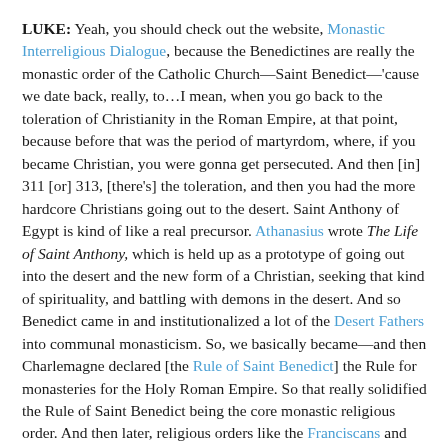LUKE: Yeah, you should check out the website, Monastic Interreligious Dialogue, because the Benedictines are really the monastic order of the Catholic Church—Saint Benedict—'cause we date back, really, to…I mean, when you go back to the toleration of Christianity in the Roman Empire, at that point, because before that was the period of martyrdom, where, if you became Christian, you were gonna get persecuted. And then [in] 311 [or] 313, [there's] the toleration, and then you had the more hardcore Christians going out to the desert. Saint Anthony of Egypt is kind of like a real precursor. Athanasius wrote The Life of Saint Anthony, which is held up as a prototype of going out into the desert and the new form of a Christian, seeking that kind of spirituality, and battling with demons in the desert. And so Benedict came in and institutionalized a lot of the Desert Fathers into communal monasticism. So, we basically became—and then Charlemagne declared [the Rule of Saint Benedict] the Rule for monasteries for the Holy Roman Empire. So that really solidified the Rule of Saint Benedict being the core monastic religious order. And then later, religious orders like the Franciscans and Dominicans kind of